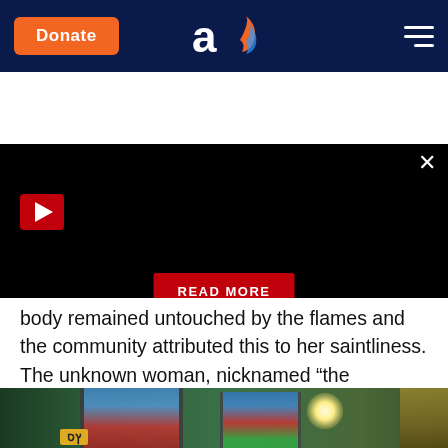Donate | [Aish logo] | [Menu]
[Figure (screenshot): Black video/advertisement area with a red play button in the top left, a red READ MORE button centered, and an X close button in the top right corner.]
body remained untouched by the flames and the community attributed this to her saintliness. The unknown woman, nicknamed “the extraordinary one”, was buried next to the synagogue.
[Figure (photo): Interior of a synagogue showing stained glass windows with colorful light (blue, red, green), ornate decorations, a bright light flare, and Hebrew text on a yellow placard.]